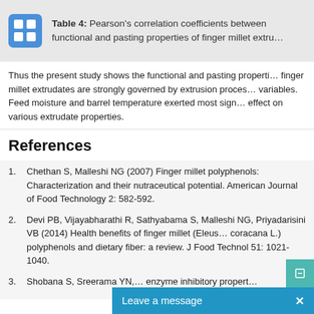Table 4: Pearson's correlation coefficients between functional and pasting properties of finger millet extru…
Thus the present study shows the functional and pasting properties of finger millet extrudates are strongly governed by extrusion process variables. Feed moisture and barrel temperature exerted most significant effect on various extrudate properties.
References
Chethan S, Malleshi NG (2007) Finger millet polyphenols: Characterization and their nutraceutical potential. American Journal of Food Technology 2: 582-592.
Devi PB, Vijayabharathi R, Sathyabama S, Malleshi NG, Priyadarisini VB (2014) Health benefits of finger millet (Eleusine coracana L.) polyphenols and dietary fiber: a review. J Food Technol 51: 1021-1040.
Shobana S, Sreerama YN, … enzyme inhibitory properties…